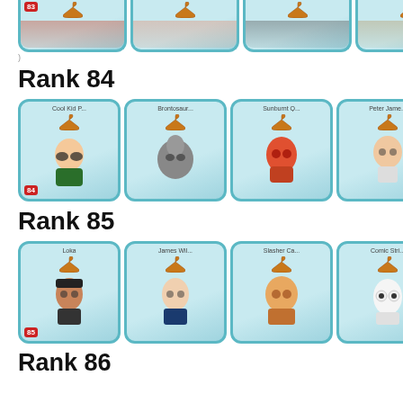[Figure (screenshot): Partially visible row of 4 character cards from a mobile game, cut off at top. Shows animated characters with rank badge.]
Rank 84
[Figure (screenshot): Row of 4 character unlock cards for Rank 84: Cool Kid P..., Brontosaur..., Sunburnt Q..., Peter Jame... Each card has a hanger icon and rank 84 badge.]
Rank 85
[Figure (screenshot): Row of 4 character unlock cards for Rank 85: Loka, James Wil..., Slasher Ca..., Comic Stri... Each card has a hanger icon and rank 85 badge.]
Rank 86
[Figure (screenshot): Row of 4 character unlock cards for Rank 86: Delivery B..., Makeover M..., Clown Herb..., Onesie May... Each card has a hanger icon.]
Rank 87